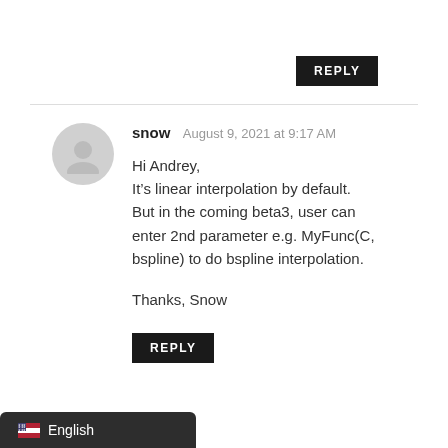REPLY
snow  August 9, 2021 at 9:17 AM
Hi Andrey,
It’s linear interpolation by default. But in the coming beta3, user can enter 2nd parameter e.g. MyFunc(C, bspline) to do bspline interpolation.

Thanks, Snow
REPLY
English